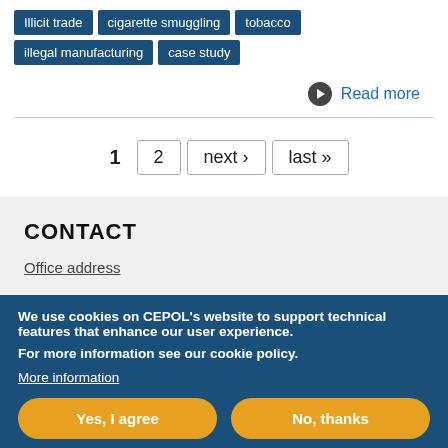Illicit trade
cigarette smuggling
tobacco
illegal manufacturing
case study
Read more
1  2  next ›  last »
CONTACT
Office address
We use cookies on CEPOL's website to support technical features that enhance our user experience.
For more information see our cookie policy.
More information
Yes, I agree
No, thanks